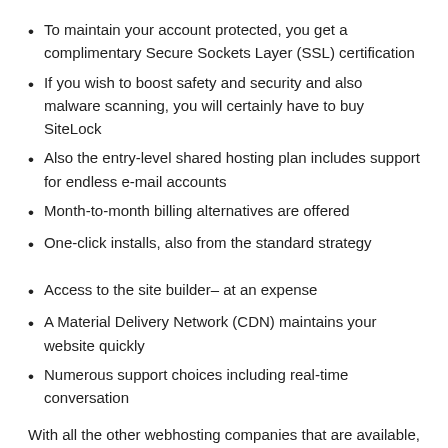To maintain your account protected, you get a complimentary Secure Sockets Layer (SSL) certification
If you wish to boost safety and security and also malware scanning, you will certainly have to buy SiteLock
Also the entry-level shared hosting plan includes support for endless e-mail accounts
Month-to-month billing alternatives are offered
One-click installs, also from the standard strategy
Access to the site builder– at an expense
A Material Delivery Network (CDN) maintains your website quickly
Numerous support choices including real-time conversation
With all the other webhosting companies that are available, why select HostGator? Well, the reality is that no single web host is best. So, whether you're a newbie webmaster or are aiming to change host, right here's a peek at the good as well as the